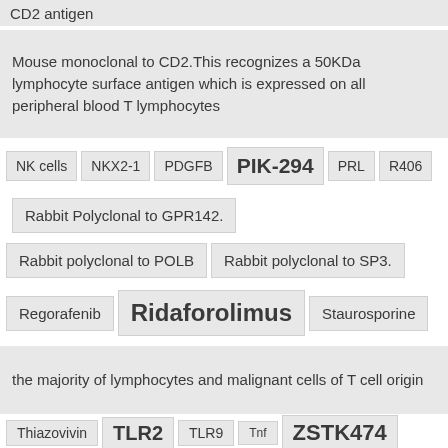CD2 antigen
Mouse monoclonal to CD2.This recognizes a 50KDa lymphocyte surface antigen which is expressed on all peripheral blood T lymphocytes
NK cells
NKX2-1
PDGFB
PIK-294
PRL
R406
Rabbit Polyclonal to GPR142.
Rabbit polyclonal to POLB
Rabbit polyclonal to SP3.
Regorafenib
Ridaforolimus
Staurosporine
the majority of lymphocytes and malignant cells of T cell origin
Thiazovivin
TLR2
TLR9
Tnf
ZSTK474